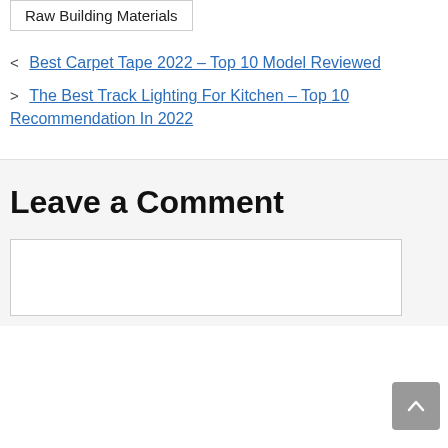Raw Building Materials
< Best Carpet Tape 2022 – Top 10 Model Reviewed
> The Best Track Lighting For Kitchen – Top 10 Recommendation In 2022
Leave a Comment